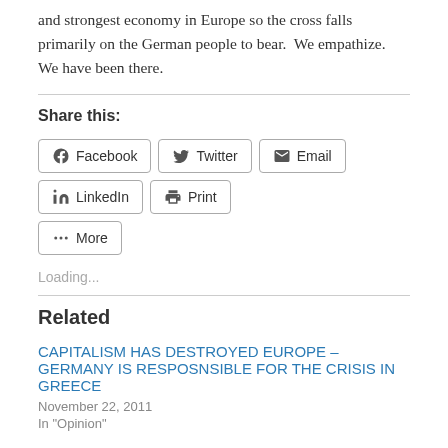and strongest economy in Europe so the cross falls primarily on the German people to bear.  We empathize.  We have been there.
Share this:
Facebook  Twitter  Email  LinkedIn  Print  More
Loading...
Related
CAPITALISM HAS DESTROYED EUROPE – GERMANY IS RESPOSNSIBLE FOR THE CRISIS IN GREECE
November 22, 2011
In "Opinion"